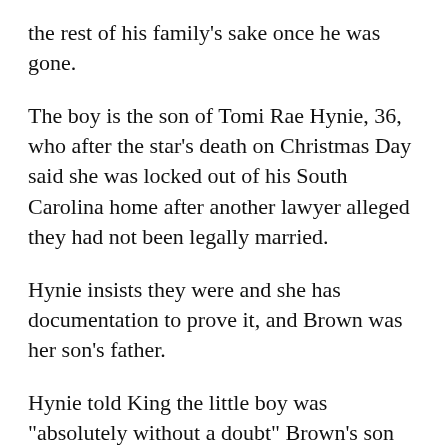the rest of his family's sake once he was gone.
The boy is the son of Tomi Rae Hynie, 36, who after the star's death on Christmas Day said she was locked out of his South Carolina home after another lawyer alleged they had not been legally married.
Hynie insists they were and she has documentation to prove it, and Brown was her son's father.
Hynie told King the little boy was "absolutely without a doubt" Brown's son and she would welcome a test.
"There is no doubt about it," she said. "No